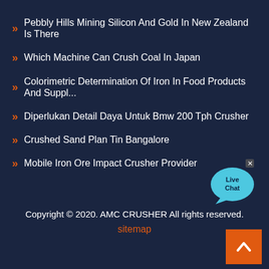Pebbly Hills Mining Silicon And Gold In New Zealand Is There
Which Machine Can Crush Coal In Japan
Colorimetric Determination Of Iron In Food Products And Suppl...
Diperlukan Detail Daya Untuk Bmw 200 Tph Crusher
[Figure (illustration): Live Chat bubble icon with cyan speech bubble and 'Live Chat' text]
Crushed Sand Plan Tin Bangalore
Mobile Iron Ore Impact Crusher Provider
Copyright © 2020. AMC CRUSHER All rights reserved. sitemap